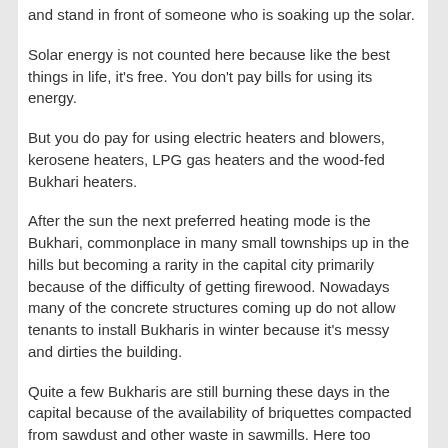and stand in front of someone who is soaking up the solar.
Solar energy is not counted here because like the best things in life, it's free. You don't pay bills for using its energy.
But you do pay for using electric heaters and blowers, kerosene heaters, LPG gas heaters and the wood-fed Bukhari heaters.
After the sun the next preferred heating mode is the Bukhari, commonplace in many small townships up in the hills but becoming a rarity in the capital city primarily because of the difficulty of getting firewood. Nowadays many of the concrete structures coming up do not allow tenants to install Bukharis in winter because it's messy and dirties the building.
Quite a few Bukharis are still burning these days in the capital because of the availability of briquettes compacted from sawdust and other waste in sawmills. Here too demand far outstrips supply and its purchase is rationed to a certain quantity an individual.